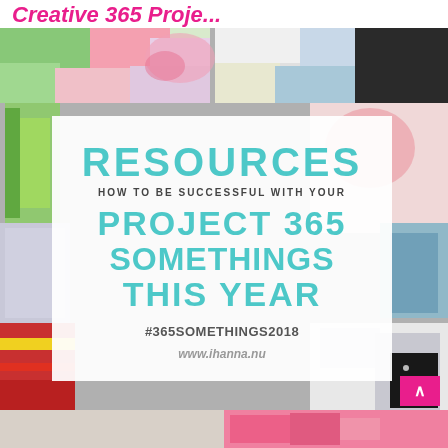Creative 365 Proje...
[Figure (photo): Collage artwork background with colorful mixed media pieces including painted roses, stamps, text fragments, colored paper strips, and abstract patterns. Overlaid with a semi-transparent white box containing the main text.]
RESOURCES
HOW TO BE SUCCESSFUL WITH YOUR
PROJECT 365 SOMETHINGS THIS YEAR
#365SOMETHINGS2018
www.ihanna.nu